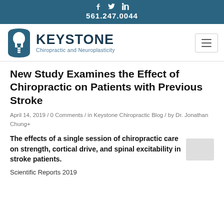f  🐦  in
561.247.0044
[Figure (logo): Keystone Chiropractic and Neuroplasticity logo with spine/skull icon and text]
New Study Examines the Effect of Chiropractic on Patients with Previous Stroke
April 14, 2019 / 0 Comments / in Keystone Chiropractic Blog / by Dr. Jonathan Chung+
The effects of a single session of chiropractic care on strength, cortical drive, and spinal excitability in stroke patients.
Scientific Reports 2019